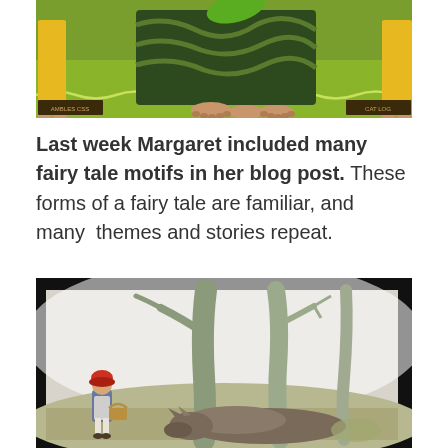[Figure (illustration): Colorful folk-art style illustration showing figures with bare feet resting on green foliage, wearing yellow and green clothing, with decorative patterns]
Last week Margaret included many fairy tale motifs in her blog post. These forms of a fairy tale are familiar, and many  themes and stories repeat.
[Figure (illustration): Watercolor illustration of a scene from Little Red Riding Hood: a small girl with a red hat and blue dress carrying a basket walks near a large wolf lying among pale tree trunks in a misty forest]